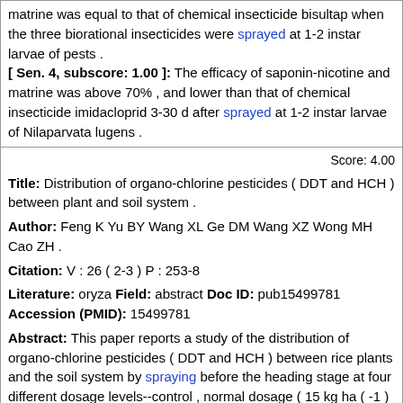matrine was equal to that of chemical insecticide bisultap when the three biorational insecticides were sprayed at 1-2 instar larvae of pests . [ Sen. 4, subscore: 1.00 ]: The efficacy of saponin-nicotine and matrine was above 70% , and lower than that of chemical insecticide imidacloprid 3-30 d after sprayed at 1-2 instar larvae of Nilaparvata lugens .
Score: 4.00
Title: Distribution of organo-chlorine pesticides ( DDT and HCH ) between plant and soil system .
Author: Feng K Yu BY Wang XL Ge DM Wang XZ Wong MH Cao ZH .
Citation: V : 26 ( 2-3 ) P : 253-8
Literature: oryza Field: abstract Doc ID: pub15499781 Accession (PMID): 15499781
Abstract: This paper reports a study of the distribution of organo-chlorine pesticides ( DDT and HCH ) between rice plants and the soil system by spraying before the heading stage at four different dosage levels--control , normal dosage ( 15 kg ha ( -1 ) of 6% HCH and 7 . 5 kg ha ( -1 ) of 25% DDT ) , double dosage and four times dosage . Soil and plant samples were taken respectively at the 1st h , 3rd , 10th , 20th , and 40th day after spraying and at the harvest time . The results indicate that less than 5% of HCH and 15% of DDT were absorbed by the surface of rice leaves for normal dosage . Most of both pesticides moved into the soil in solution after spraying . Compared with DDT , HCH was degraded and run off more easily . HCH residues in the surface soil layer ( 1-3 cm ) were already below 6 . 4 microg kg ( -1 ) at the mature stage , lower than Chinese Environmental Quality Standard for Agricultural Soils : HCH < 0 . 05 mg kg ( -1 ) . However DDT residues in the surface soil layer remained 172 microg kg ( -1 ) , higher than the national standard : DDT < 0 . 05 mg kg ( -1 ) . According to the test f OCP residues in rice